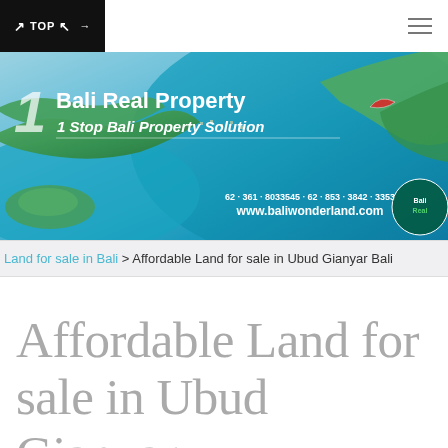↗TOP↖ →
[Figure (photo): Bali Real Property banner — aerial photo of Bali coastline with teal water and green land, overlaid with text '1 Bali Real Property / 1 Stop Bali Property Solution', phone '62-361-8033545 / 62-853-3842-3353', website 'www.baliwonderland.com']
Land for sale in Bali > Affordable Land for sale in Ubud Gianyar Bali
Affordable Land for sale in Ubud Gianyar